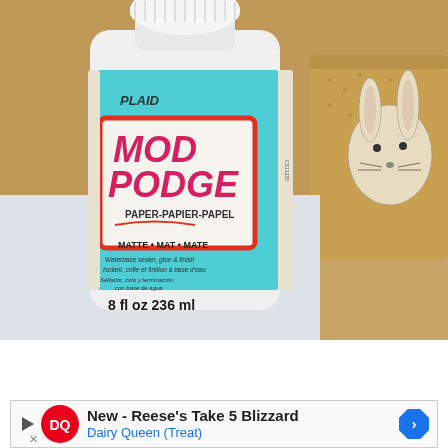[Figure (photo): Photo of a bottle of Plaid Mod Podge Paper (Matte) 8 fl oz 236 ml, a waterbase sealer, glue and finish product with a teal/aqua label and red logo frame. A burlap or natural fiber cup with a printed rabbit illustration is visible in the background to the right. The scene is on a light-colored surface.]
[Figure (screenshot): Advertisement banner at the bottom: Dairy Queen ad for 'New - Reese's Take 5 Blizzard' with DQ logo in red circle, a play triangle icon on the left, blue text 'Dairy Queen (Treat)', and a blue diamond-shaped arrow icon on the right.]